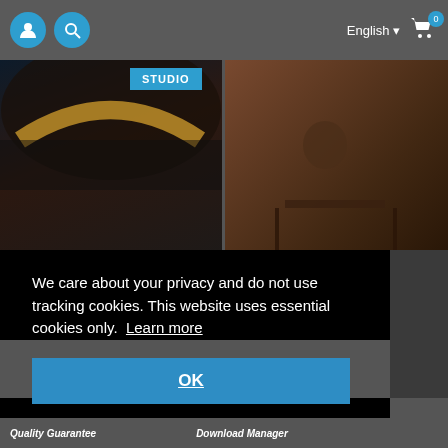[Figure (screenshot): Navigation bar with user icon, search icon, English language selector, and cart with 0 items on dark gray background]
[Figure (photo): Album cover for Bettie James Gold Edition showing a dark-skinned person in cowboy hat on dark background with golden text]
[Figure (photo): Sepia-toned photo of a person sitting at a table in a studio or room setting]
We care about your privacy and do not use tracking cookies. This website uses essential cookies only.  Learn more
OK
Quality Guarantee
Download Manager